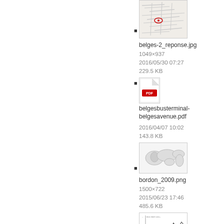[Figure (screenshot): Thumbnail of map image belges-2_reponse.jpg]
belges-2_reponse.jpg
1049×937
2016/05/30 07:27
229.5 KB
[Figure (screenshot): Thumbnail of PDF icon for belgesbusterminal-belgesavenue.pdf]
belgesbusterminal-belgesavenue.pdf
2016/04/07 10:02
143.8 KB
[Figure (screenshot): Thumbnail of map image bordon_2009.png]
bordon_2009.png
1500×722
2015/06/23 17:46
485.6 KB
[Figure (screenshot): Thumbnail of line chart image at bottom of page]